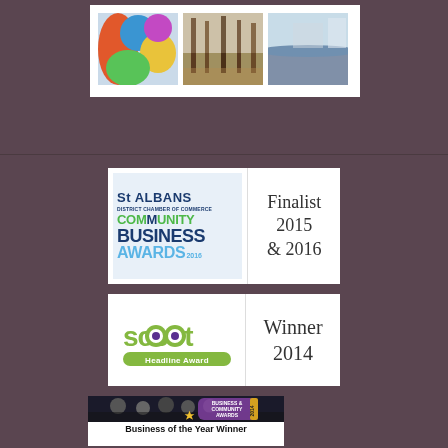[Figure (photo): Three artwork/painting images displayed in a white-bordered strip at the top: abstract colorful painting, wooded trees painting, and a landscape/water scene]
[Figure (logo): St Albans District Chamber of Commerce Community Business Awards 2016 badge with text 'Finalist 2015 & 2016' on the right side]
[Figure (logo): Scoot Headline Award badge with text 'Winner 2014' on the right side]
[Figure (photo): Business of the Year Winner badge showing a group photo of people at an awards ceremony and a purple Business & Community Awards 2014 medallion, with caption 'Business of the Year Winner']